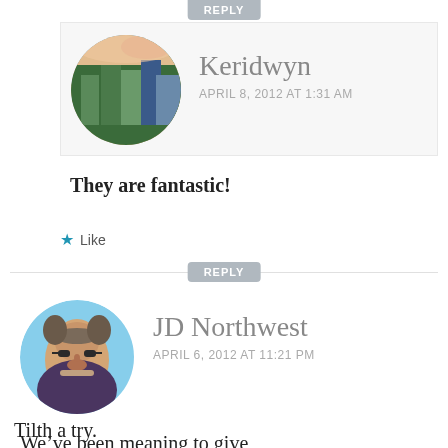REPLY
Keridwyn
APRIL 8, 2012 AT 1:31 AM
They are fantastic!
★ Like
REPLY
JD Northwest
APRIL 6, 2012 AT 11:21 PM
We’ve been meaning to give Tilth a try.